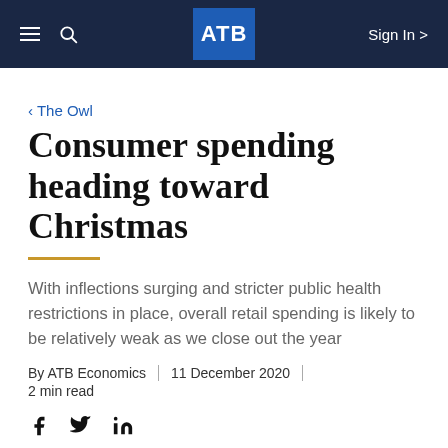ATB  Sign In >
< The Owl
Consumer spending heading toward Christmas
With inflections surging and stricter public health restrictions in place, overall retail spending is likely to be relatively weak as we close out the year
By ATB Economics  |  11 December 2020  |  2 min read